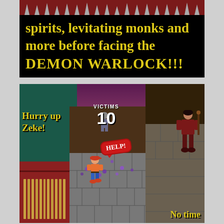[Figure (screenshot): Top portion: black banner with yellow stylized text reading 'spirits, levitating monks and more before facing the DEMON WARLOCK!!!' on a black background, with a dark red/maroon decorative bar with spike shapes at the very top. Bottom portion: a retro video game screenshot showing a top-down/isometric action game. A character in orange shirt and blue jeans is running through a stone-block environment. Text overlays include 'Hurry up Zeke!' in yellow on the left, 'VICTIMS 10' in white at top center, a red speech bubble saying 'HELP!' in the middle, an enemy character on the right side, and 'No time' in yellow at the bottom right.]